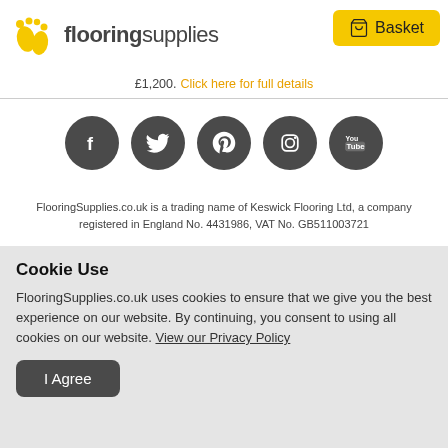flooringsupplies | Basket
£1,200. Click here for full details
[Figure (illustration): Row of 5 dark grey circular social media icons: Facebook, Twitter, Pinterest, Instagram, YouTube]
FlooringSupplies.co.uk is a trading name of Keswick Flooring Ltd, a company registered in England No. 4431986, VAT No. GB511003721
Finance provided by PayPal Credit and V12 Retail Finance. Terms and conditions apply. Credit subject to status, UK residents only. FlooringSupplies.co.uk acts as a broker, not a lender and only offer credit products from a restricted range of finance
Cookie Use
FlooringSupplies.co.uk uses cookies to ensure that we give you the best experience on our website. By continuing, you consent to using all cookies on our website. View our Privacy Policy